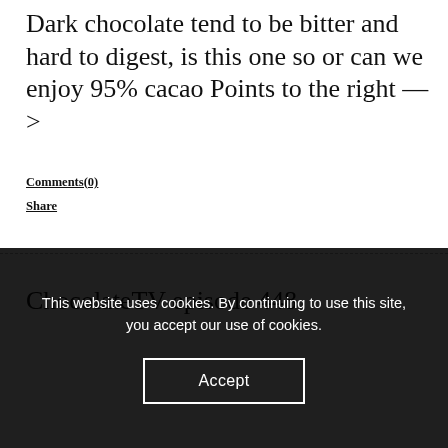Dark chocolate tend to be bitter and hard to digest, is this one so or can we enjoy 95% cacao Points to the right —>
Comments(0)
Share
ChocolateTV episode 448
This website uses cookies. By continuing to use this site, you accept our use of cookies.
Accept